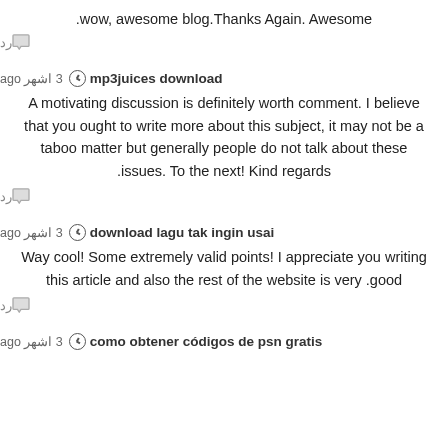.wow, awesome blog.Thanks Again. Awesome
رد 💬
mp3juices download  🕐 3 اشهر ago
A motivating discussion is definitely worth comment. I believe that you ought to write more about this subject, it may not be a taboo matter but generally people do not talk about these issues. To the next! Kind regards.
رد 💬
download lagu tak ingin usai  🕐 3 اشهر ago
Way cool! Some extremely valid points! I appreciate you writing this article and also the rest of the website is very good.
رد 💬
como obtener códigos de psn gratis  🕐 3 اشهر ago